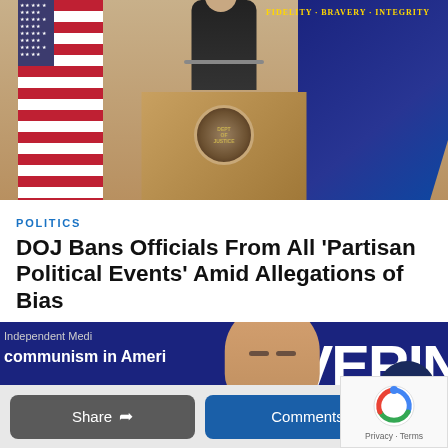[Figure (photo): Official at Department of Justice podium with US flag and navy DOJ flag in background]
POLITICS
DOJ Bans Officials From All ‘Partisan Political Events’ Amid Allegations of Bias
[Figure (photo): Man at event with banner reading 'Communism in America' and 'COVERING IMP' in yellow letters; large white text 'READ' at bottom]
Share
Comments